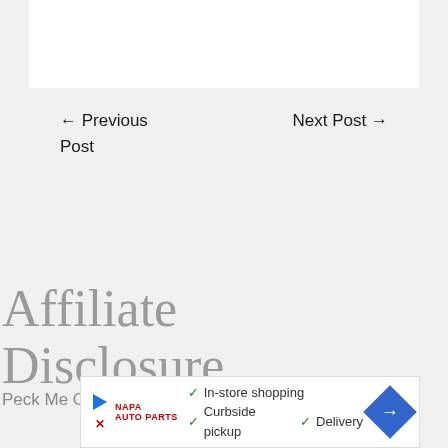[Figure (other): White content box at top of page]
← Previous Post
Next Post →
Affiliate Disclosure
Peck Me Out is a participant in
[Figure (other): Advertisement banner showing store shopping options: In-store shopping, Curbside pickup, Delivery with a blue navigation arrow icon]